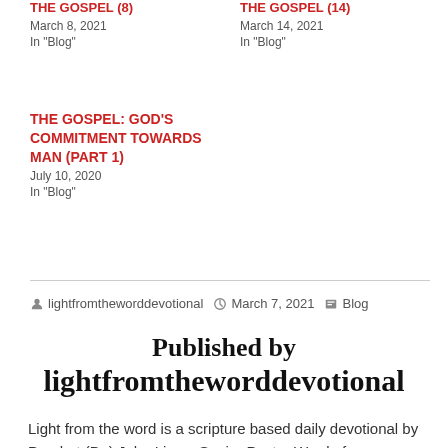THE GOSPEL (8)
March 8, 2021
In "Blog"
THE GOSPEL (14)
March 14, 2021
In "Blog"
THE GOSPEL: GOD’S COMMITMENT TOWARDS MAN (PART 1)
July 10, 2020
In "Blog"
By lightfromtheworddevotional   March 7, 2021   Blog
Published by lightfromtheworddevotional
Light from the word is a scripture based daily devotional by Prophet (Dr.) John Linus, Senior Pastor Word of